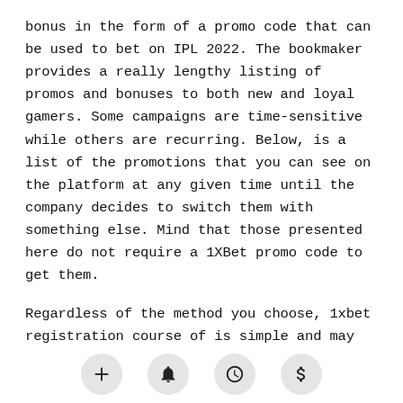bonus in the form of a promo code that can be used to bet on IPL 2022. The bookmaker provides a really lengthy listing of promos and bonuses to both new and loyal gamers. Some campaigns are time-sensitive while others are recurring. Below, is a list of the promotions that you can see on the platform at any given time until the company decides to switch them with something else. Mind that those presented here do not require a 1XBet promo code to get them.
Regardless of the method you choose, 1xbet registration course of is simple and may be accomplished inside a very quick time. The second technique to register an account with 1xbet Nigeria is through your private telephone quantity. They are highly dependable in phrases of well timed payments, good customer service and several others.
[Figure (other): Bottom navigation bar with four circular icon buttons: plus (+), bell (notification), clock (history), and dollar sign ($)]